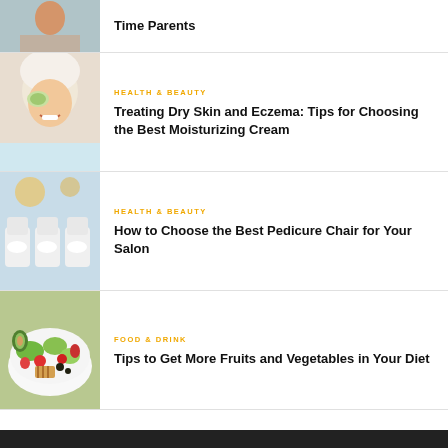Time Parents
[Figure (photo): Person at top, partial view]
[Figure (photo): Woman with towel on head holding cucumber slices over eyes, smiling]
HEALTH & BEAUTY
Treating Dry Skin and Eczema: Tips for Choosing the Best Moisturizing Cream
[Figure (photo): Pedicure chairs in a salon with white bowls]
HEALTH & BEAUTY
How to Choose the Best Pedicure Chair for Your Salon
[Figure (photo): Colorful salad with fruits and vegetables in a white bowl]
FOOD & DRINK
Tips to Get More Fruits and Vegetables in Your Diet